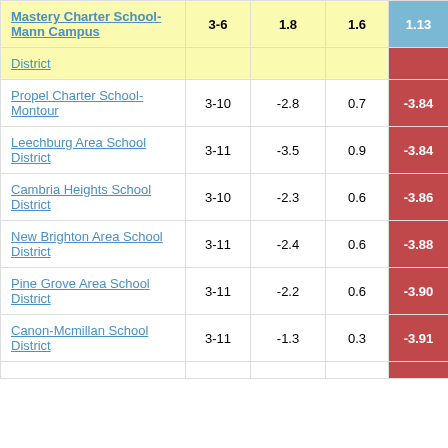| School/District | Grades | Col3 | Col4 | Score |
| --- | --- | --- | --- | --- |
| Mastery Charter School-Mann Campus | 3-6 | 1.8 | 1.6 | 1.13 |
| District |  |  |  |  |
| Propel Charter School-Montour | 3-10 | -2.8 | 0.7 | -3.84 |
| Leechburg Area School District | 3-11 | -3.5 | 0.9 | -3.84 |
| Cambria Heights School District | 3-10 | -2.3 | 0.6 | -3.86 |
| New Brighton Area School District | 3-11 | -2.4 | 0.6 | -3.88 |
| Pine Grove Area School District | 3-11 | -2.2 | 0.6 | -3.90 |
| Canon-Mcmillan School District | 3-11 | -1.3 | 0.3 | -3.91 |